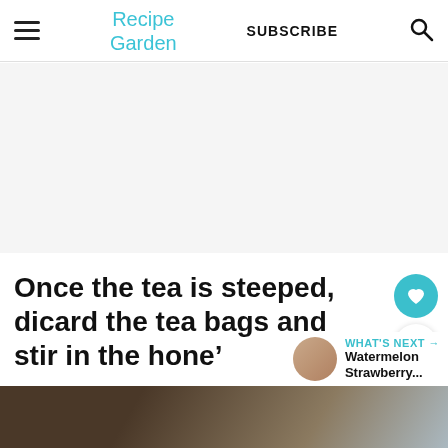Recipe Garden | SUBSCRIBE
[Figure (other): Advertisement placeholder area, light gray background]
Once the tea is steeped, dicard the tea bags and stir in the hone’
[Figure (other): WHAT'S NEXT arrow - Watermelon Strawberry... with thumbnail]
[Figure (photo): Photo of tea being prepared in a dark pan, bottom of page]